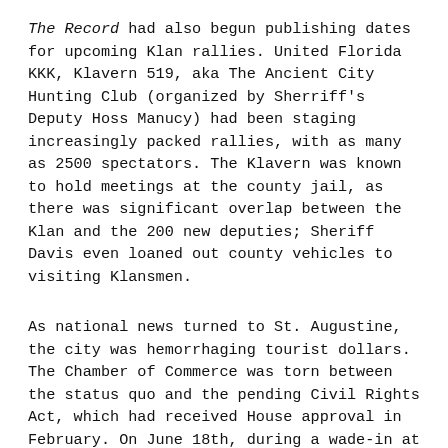The Record had also begun publishing dates for upcoming Klan rallies. United Florida KKK, Klavern 519, aka The Ancient City Hunting Club (organized by Sherriff's Deputy Hoss Manucy) had been staging increasingly packed rallies, with as many as 2500 spectators. The Klavern was known to hold meetings at the county jail, as there was significant overlap between the Klan and the 200 new deputies; Sheriff Davis even loaned out county vehicles to visiting Klansmen.
As national news turned to St. Augustine, the city was hemorrhaging tourist dollars. The Chamber of Commerce was torn between the status quo and the pending Civil Rights Act, which had received House approval in February. On June 18th, during a wade-in at The Monson Motor Lodge